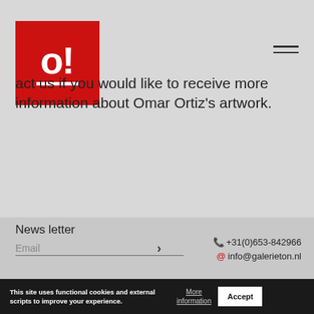[Figure (logo): Galerie Ton logo: red square with white 'o!' text and white underline bar]
act us if you would like to receive more information about Omar Ortiz's artwork.
News letter
Email
+31(0)653-842966
info@galerieton.nl
This site uses functional cookies and external scripts to improve your experience.
More information
Accept